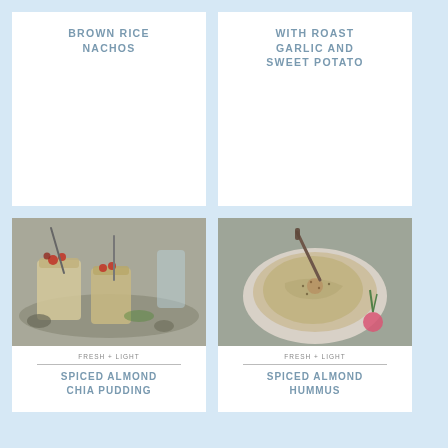BROWN RICE NACHOS
WITH ROAST GARLIC AND SWEET POTATO
[Figure (photo): Two glasses of spiced almond chia pudding topped with raspberries on a silver tray with spoons]
FRESH + LIGHT
SPICED ALMOND CHIA PUDDING
[Figure (photo): A bowl of spiced almond hummus with a knife, garnished with sesame seeds and radishes]
FRESH + LIGHT
SPICED ALMOND HUMMUS